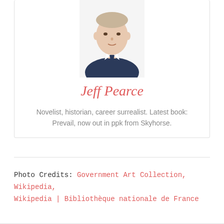[Figure (photo): Headshot photo of Jeff Pearce, a man in a dark suit and tie against a white background]
Jeff Pearce
Novelist, historian, career surrealist. Latest book: Prevail, now out in ppk from Skyhorse.
Photo Credits: Government Art Collection, Wikipedia, Wikipedia | Bibliothèque nationale de France